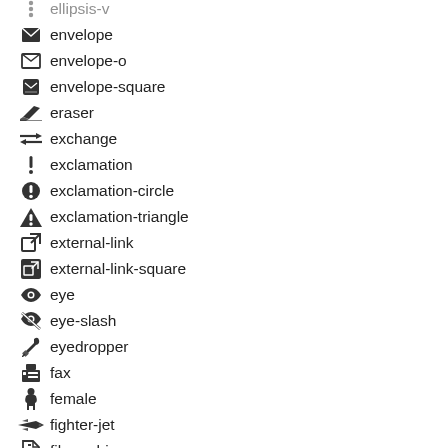ellipsis-v
envelope
envelope-o
envelope-square
eraser
exchange
exclamation
exclamation-circle
exclamation-triangle
external-link
external-link-square
eye
eye-slash
eyedropper
fax
female
fighter-jet
file-archive-o
file-audio-o